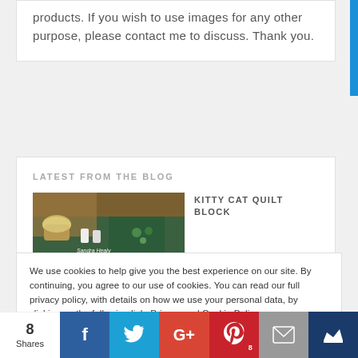products. If you wish to use images for any other purpose, please contact me to discuss. Thank you.
LATEST FROM THE BLOG
[Figure (photo): Photo of tea cup and green fabric/thread sewing supplies with Sandra Healy Designs book or card visible]
KITTY CAT QUILT BLOCK
We use cookies to help give you the best experience on our site. By continuing, you agree to our use of cookies. You can read our full privacy policy, with details on how we use your personal data, by clicking on the following link. Privacy and Cookie Policy
8 Shares